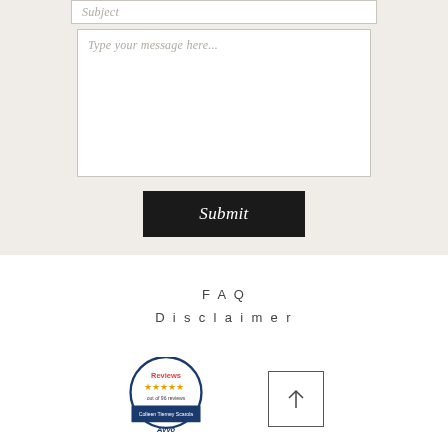Subject
Type your message here...
Submit
FAQ
Disclaimer
[Figure (logo): Avvo Reviews badge with 5 stars, 'out of 96 reviews', and 'Colleen Tierney Scarcla' name, Avvo logo at bottom]
[Figure (other): Scroll to top button — square box with an upward arrow]